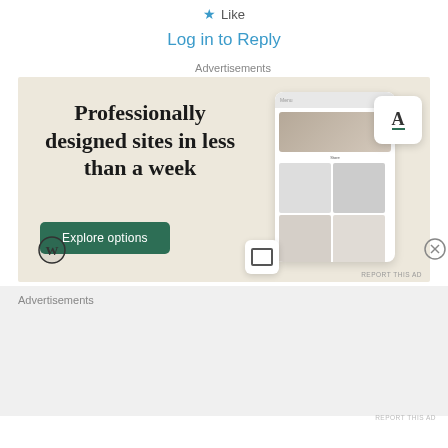Like
Log in to Reply
Advertisements
[Figure (illustration): WordPress advertisement banner with text 'Professionally designed sites in less than a week', an 'Explore options' button, WordPress logo, and website mockup screenshots on a beige background.]
REPORT THIS AD
Advertisements
REPORT THIS AD